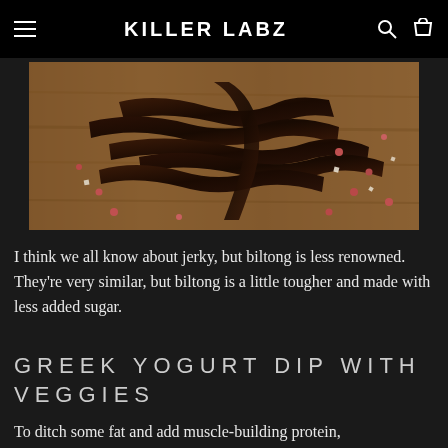KILLER LABZ
[Figure (photo): Close-up photo of beef jerky / biltong strips on a wooden surface, scattered with pink peppercorns and salt crystals]
I think we all know about jerky, but biltong is less renowned. They're very similar, but biltong is a little tougher and made with less added sugar.
GREEK YOGURT DIP WITH VEGGIES
To ditch some fat and add muscle-building protein,